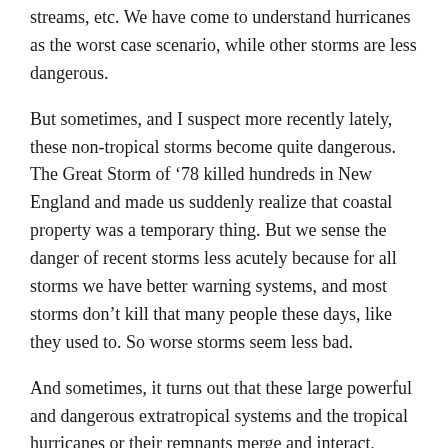streams, etc. We have come to understand hurricanes as the worst case scenario, while other storms are less dangerous.
But sometimes, and I suspect more recently lately, these non-tropical storms become quite dangerous. The Great Storm of '78 killed hundreds in New England and made us suddenly realize that coastal property was a temporary thing. But we sense the danger of recent storms less acutely because for all storms we have better warning systems, and most storms don't kill that many people these days, like they used to. So worse storms seem less bad.
And sometimes, it turns out that these large powerful and dangerous extratropical systems and the tropical hurricanes or their remnants merge and interact, creating what sometimes emerges as a “superstorm” or at least, a “really inconvenient storm.”